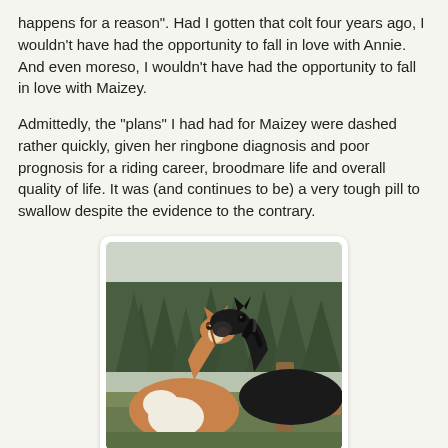happens for a reason". Had I gotten that colt four years ago, I wouldn't have had the opportunity to fall in love with Annie. And even moreso, I wouldn't have had the opportunity to fall in love with Maizey.
Admittedly, the "plans" I had had for Maizey were dashed rather quickly, given her ringbone diagnosis and poor prognosis for a riding career, broodmare life and overall quality of life. It was (and continues to be) a very tough pill to swallow despite the evidence to the contrary.
[Figure (photo): A brown and white paint horse nuzzling with a black horse over a wooden fence, with evergreen trees in the background on an overcast day.]